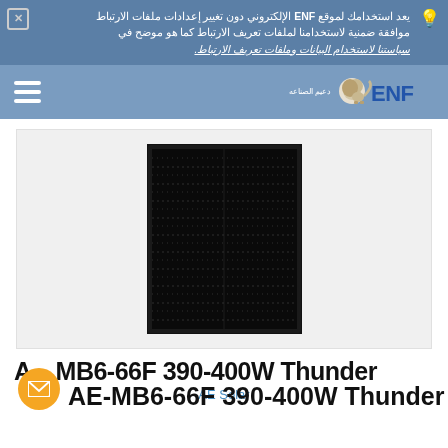يعد استخدامك لموقع ENF الإلكتروني دون تغيير إعدادات ملفات الارتباط موافقة ضمنية لاستخدامنا لملفات تعريف الارتباط كما هو موضح في سياستنا لاستخدام البيانات وملفات تعريف الارتباط.
[Figure (logo): ENF Solar logo with lion mascot and Arabic subtitle]
[Figure (photo): Black solar panel module AE-MB6-66F 390-400W Thunder, full-black monocrystalline panel]
AE-MB6-66F 390-400W Thunder
AE Solar